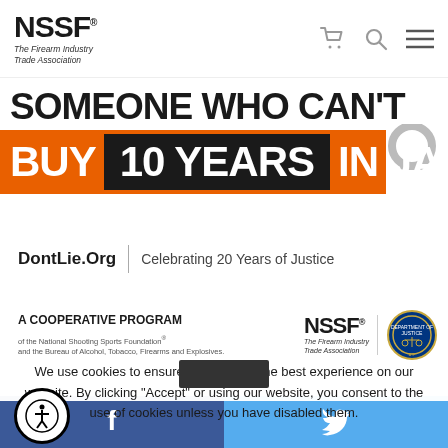[Figure (logo): NSSF – The Firearm Industry Trade Association logo with cart, search, and menu icons in navigation bar]
[Figure (infographic): Campaign banner: 'SOMEONE WHO CAN'T BUY 10 YEARS IN JAIL' on white and orange background with handcuff graphic]
DontLie.Org | Celebrating 20 Years of Justice
[Figure (logo): A COOPERATIVE PROGRAM of the National Shooting Sports Foundation and the Bureau of Alcohol, Tobacco, Firearms and Explosives. NSSF – The Firearm Industry Trade Association logo and ATF seal.]
We use cookies to ensure we give you the best experience on our website. By clicking "Accept" or using our website, you consent to the use of cookies unless you have disabled them.
[Figure (infographic): Social media footer with Facebook (blue) and Twitter (light blue) icons]